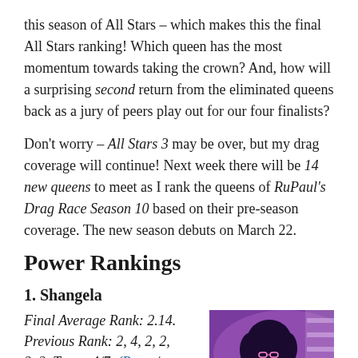this season of All Stars – which makes this the final All Stars ranking! Which queen has the most momentum towards taking the crown? And, how will a surprising second return from the eliminated queens back as a jury of peers play out for our four finalists?
Don't worry – All Stars 3 may be over, but my drag coverage will continue! Next week there will be 14 new queens to meet as I rank the queens of RuPaul's Drag Race Season 10 based on their pre-season coverage. The new season debuts on March 22.
Power Rankings
1. Shangela
Final Average Rank: 2.14. Previous Rank: 2, 4, 2, 2, 2, 2. Toots: 4/7. (Page /
[Figure (photo): A drag queen with large dark hair and pink/purple lighting, wearing glasses, in a kitchen-like setting.]